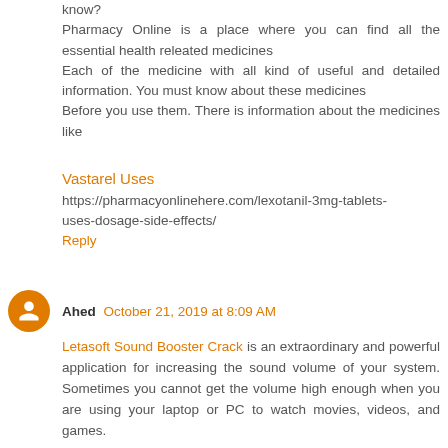know?
Pharmacy Online is a place where you can find all the essential health releated medicines
Each of the medicine with all kind of useful and detailed information. You must know about these medicines
Before you use them. There is information about the medicines like
Vastarel Uses
https://pharmacyonlinehere.com/lexotanil-3mg-tablets-uses-dosage-side-effects/
Reply
Ahed October 21, 2019 at 8:09 AM
Letasoft Sound Booster Crack is an extraordinary and powerful application for increasing the sound volume of your system. Sometimes you cannot get the volume high enough when you are using your laptop or PC to watch movies, videos, and games.
Reply